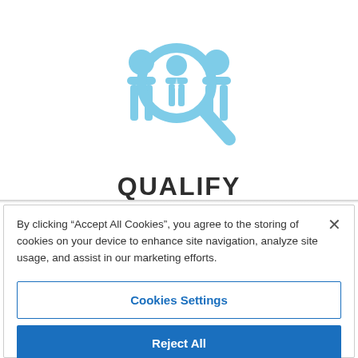[Figure (illustration): Light blue icon showing two people silhouettes with a magnifying glass highlighting a person in the center, representing a 'qualify' or recruitment concept.]
QUALIFY
By clicking “Accept All Cookies”, you agree to the storing of cookies on your device to enhance site navigation, analyze site usage, and assist in our marketing efforts.
Cookies Settings
Reject All